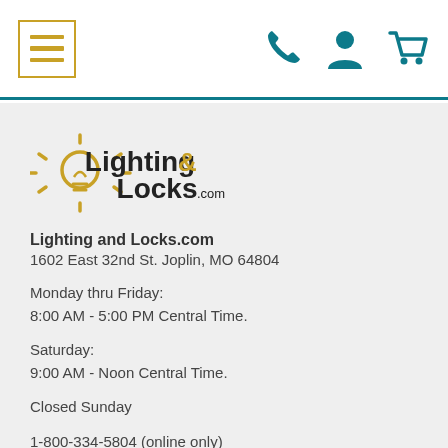Navigation header with hamburger menu, phone, account, and cart icons
[Figure (logo): Lighting & Locks.com logo with sun/lightbulb icon in gold and black text]
Lighting and Locks.com
1602 East 32nd St. Joplin, MO 64804
Monday thru Friday:
8:00 AM - 5:00 PM Central Time.
Saturday:
9:00 AM - Noon Central Time.
Closed Sunday
1-800-334-5804 (online only)